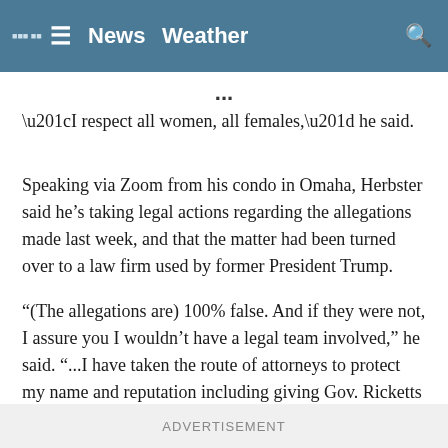News  Weather
“I respect all women, all females,” he said.
Speaking via Zoom from his condo in Omaha, Herbster said he’s taking legal actions regarding the allegations made last week, and that the matter had been turned over to a law firm used by former President Trump.
“(The allegations are) 100% false. And if they were not, I assure you I wouldn’t have a legal team involved,” he said. “...I have taken the route of attorneys to protect my name and reputation including giving Gov. Ricketts a litigation hold; plus, obviously, Julie Slama, Jim Pillen, and many others here in the state of Nebraska.”
ADVERTISEMENT